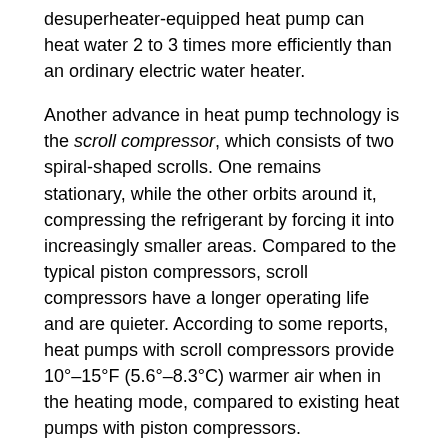desuperheater-equipped heat pump can heat water 2 to 3 times more efficiently than an ordinary electric water heater.
Another advance in heat pump technology is the scroll compressor, which consists of two spiral-shaped scrolls. One remains stationary, while the other orbits around it, compressing the refrigerant by forcing it into increasingly smaller areas. Compared to the typical piston compressors, scroll compressors have a longer operating life and are quieter. According to some reports, heat pumps with scroll compressors provide 10°–15°F (5.6°–8.3°C) warmer air when in the heating mode, compared to existing heat pumps with piston compressors.
Although most heat pumps use electric resistance heaters as a backup for cold weather, heat pumps can also be equipped with burners to supplement the heat pump. Back-up burners help solve the problem of the heat pump delivering relatively cool air during cold weather and reduces its use of electricity. Since there are few heat pump manufacturers that incorporate both types of heat supply in one box, these configurations are often two smaller, side-by-side, standard systems sharing the